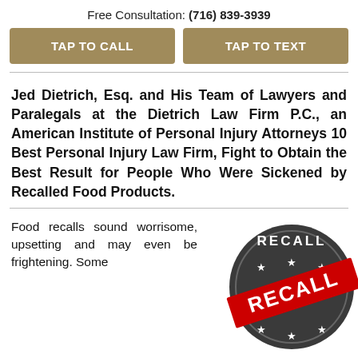Free Consultation: (716) 839-3939
TAP TO CALL
TAP TO TEXT
Jed Dietrich, Esq. and His Team of Lawyers and Paralegals at the Dietrich Law Firm P.C., an American Institute of Personal Injury Attorneys 10 Best Personal Injury Law Firm, Fight to Obtain the Best Result for People Who Were Sickened by Recalled Food Products.
Food recalls sound worrisome, upsetting and may even be frightening. Some
[Figure (illustration): A circular stamp/seal graphic in dark gray with the word RECALL at the top, three stars, and a red diagonal banner across the center reading RECALL in white bold text, with three stars below.]